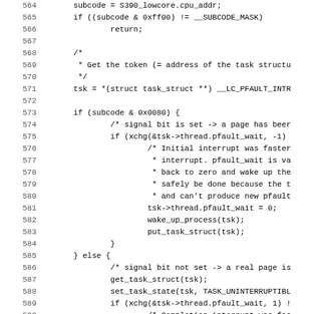[Figure (other): Source code listing in C, lines 564–595, showing pfault interrupt handling logic with subcode checking, task struct operations, xchg calls, wake_up_process, and task state manipulation.]